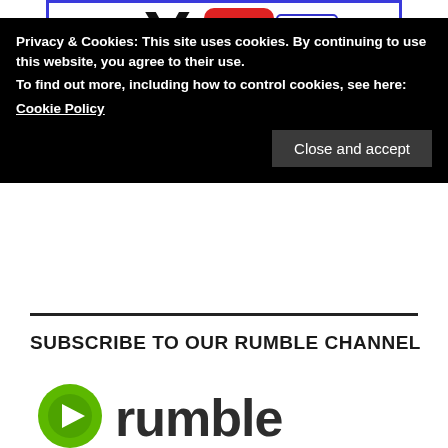[Figure (screenshot): YouTube community graphic with blue border, showing partial YouTube logo and 'community' text]
Privacy & Cookies: This site uses cookies. By continuing to use this website, you agree to their use. To find out more, including how to control cookies, see here: Cookie Policy
Close and accept
SUBSCRIBE TO OUR RUMBLE CHANNEL
[Figure (logo): Rumble logo — green circular icon with play button and 'rumble' text in dark grey]